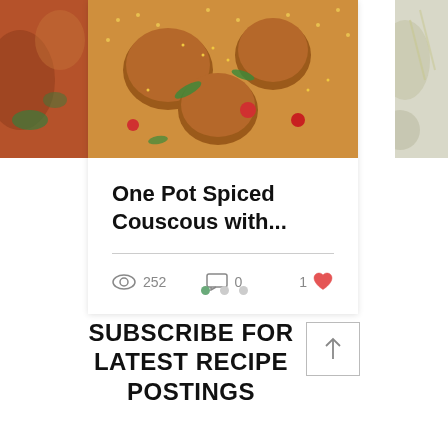[Figure (photo): Partial view of a food dish on the left edge]
[Figure (photo): Food photo of One Pot Spiced Couscous dish with golden couscous, chicken, cherry tomatoes, and herbs]
[Figure (photo): Partial view of a food dish on the right edge]
One Pot Spiced Couscous with...
252 views  0 comments  1 like
• • •
SUBSCRIBE FOR LATEST RECIPE POSTINGS